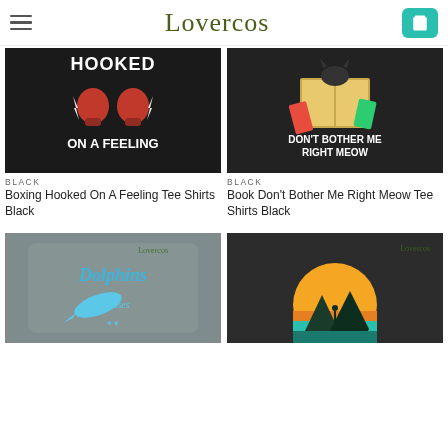Lovercos
[Figure (photo): Black t-shirt with boxing gloves graphic and text HOOKED ON A FEELING]
BLACK
Boxing Hooked On A Feeling Tee Shirts Black
[Figure (photo): Black t-shirt with cat reading books graphic and text DON'T BOTHER ME RIGHT MEOW]
BLACK
Book Don't Bother Me Right Meow Tee Shirts Black
[Figure (photo): Grey t-shirt with dolphins graphic and text 'Dolphins kisses']
[Figure (photo): Dark t-shirt with mountain sunset retro graphic in teal and orange]